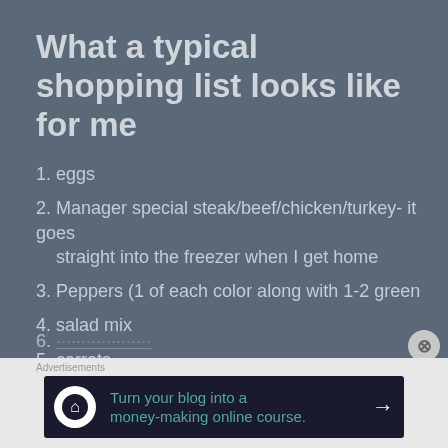What a typical shopping list looks like for me
1. eggs
2. Manager special steak/beef/chicken/turkey- it goes straight into the freezer when I get home
3. Peppers (1 of each color along with 1-2 green
4. salad mix
5. carrots
[Figure (screenshot): Advertisement banner: Turn your blog into a money-making online course.]